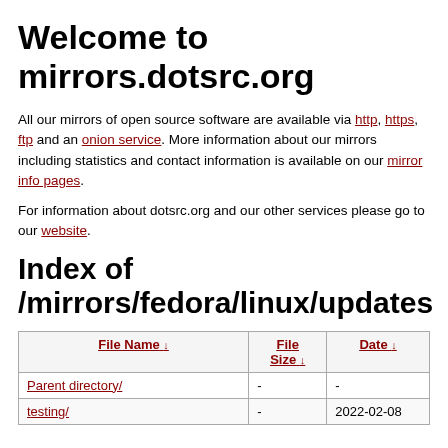Welcome to mirrors.dotsrc.org
All our mirrors of open source software are available via http, https, ftp and an onion service. More information about our mirrors including statistics and contact information is available on our mirror info pages.
For information about dotsrc.org and our other services please go to our website.
Index of /mirrors/fedora/linux/updates
| File Name ↓ | File Size ↓ | Date ↓ |
| --- | --- | --- |
| Parent directory/ | - | - |
| testing/ | - | 2022-02-08 |